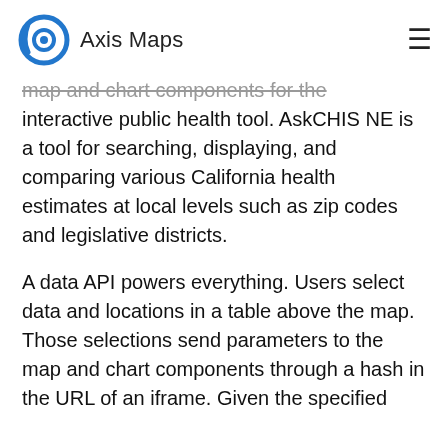Axis Maps
map and chart components for the interactive public health tool. AskCHIS NE is a tool for searching, displaying, and comparing various California health estimates at local levels such as zip codes and legislative districts.
A data API powers everything. Users select data and locations in a table above the map. Those selections send parameters to the map and chart components through a hash in the URL of an iframe. Given the specified